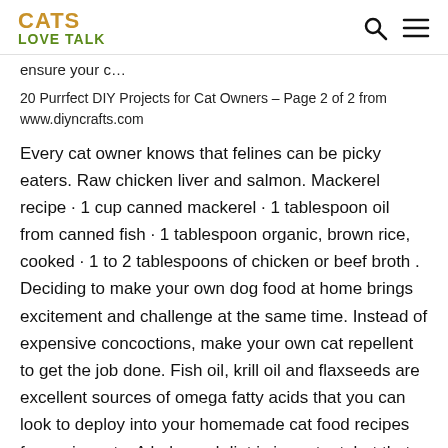CATS LOVE TALK
ensure your c…
20 Purrfect DIY Projects for Cat Owners – Page 2 of 2 from www.diyncrafts.com
Every cat owner knows that felines can be picky eaters. Raw chicken liver and salmon. Mackerel recipe · 1 cup canned mackerel · 1 tablespoon oil from canned fish · 1 tablespoon organic, brown rice, cooked · 1 to 2 tablespoons of chicken or beef broth . Deciding to make your own dog food at home brings excitement and challenge at the same time. Instead of expensive concoctions, make your own cat repellent to get the job done. Fish oil, krill oil and flaxseeds are excellent sources of omega fatty acids that you can look to deploy into your homemade cat food recipes for senior cats. A balanced diet is important, but that doesn't